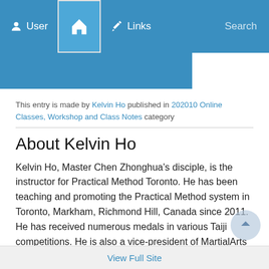User  Home  Links  Search
This entry is made by Kelvin Ho published in 202010 Online Classes, Workshop and Class Notes category⁠
About Kelvin Ho
Kelvin Ho, Master Chen Zhonghua's disciple, is the instructor for Practical Method Toronto. He has been teaching and promoting the Practical Method system in Toronto, Markham, Richmond Hill, Canada since 2011. He has received numerous medals in various Taiji competitions. He is also a vice-president of MartialArts Association Canada. Like his teacher, he feels an obligation to pass this great art onto others. Contact: kelvin.ho@practicalmethod.ca.
View Full Site